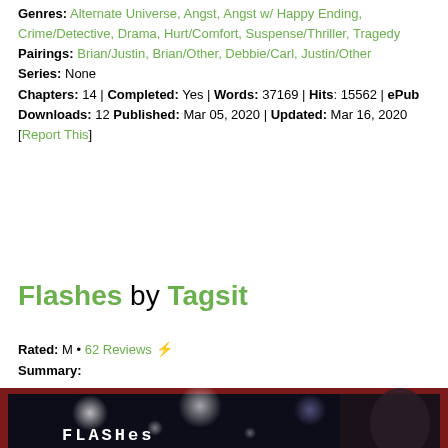Genres: Alternate Universe, Angst, Angst w/ Happy Ending, Crime/Detective, Drama, Hurt/Comfort, Suspense/Thriller, Tragedy
Pairings: Brian/Justin, Brian/Other, Debbie/Carl, Justin/Other
Series: None
Chapters: 14 | Completed: Yes | Words: 37169 | Hits: 15562 | ePub Downloads: 12 Published: Mar 05, 2020 | Updated: Mar 16, 2020
[Report This]
Flashes by Tagsit
Rated: M • 62 Reviews
Summary:
[Figure (photo): Dark atmospheric image with star/light flares on a dark background, showing a partial face on the right side. Red border frame. Text 'Flashes' in white bold monospace font at bottom left.]